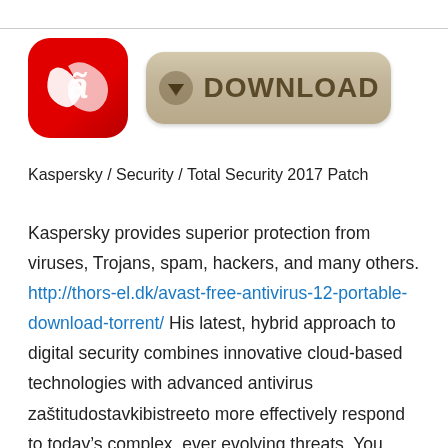[Figure (logo): Avast/antivirus red rounded-square logo with white stylized 'A' or wing mark, next to a beige/tan rounded Download button with downward arrow icon and bold text DOWNLOAD]
Kaspersky / Security / Total Security 2017 Patch
Kaspersky provides superior protection from viruses, Trojans, spam, hackers, and many others. http://thors-el.dk/avast-free-antivirus-12-portable-download-torrent/ His latest, hybrid approach to digital security combines innovative cloud-based technologies with advanced antivirus zaštitudostavkibistreeto more effectively respond to today’s complex, ever evolving threats. You, your private data, and the computer is completely protected as you work, bank, shop and play